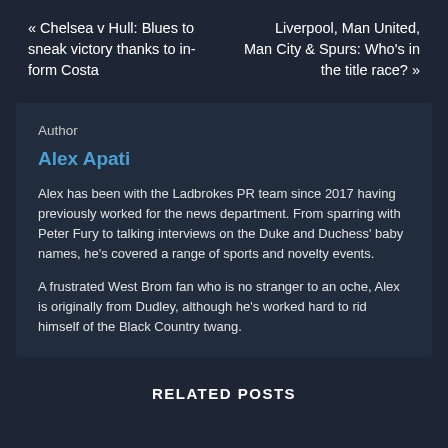« Chelsea v Hull: Blues to sneak victory thanks to in-form Costa
Liverpool, Man United, Man City & Spurs: Who's in the title race? »
Author
Alex Apati
Alex has been with the Ladbrokes PR team since 2017 having previously worked for the news department. From sparring with Peter Fury to talking interviews on the Duke and Duchess' baby names, he's covered a range of sports and novelty events.
A frustrated West Brom fan who is no stranger to an oche, Alex is originally from Dudley, although he's worked hard to rid himself of the Black Country twang.
RELATED POSTS